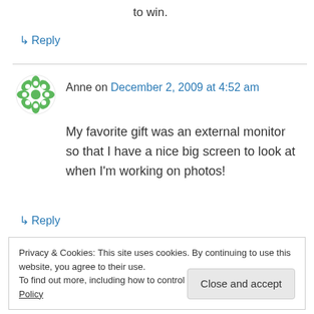to win.
↳ Reply
Anne on December 2, 2009 at 4:52 am
My favorite gift was an external monitor so that I have a nice big screen to look at when I'm working on photos!
↳ Reply
Privacy & Cookies: This site uses cookies. By continuing to use this website, you agree to their use.
To find out more, including how to control cookies, see here: Cookie Policy
Close and accept